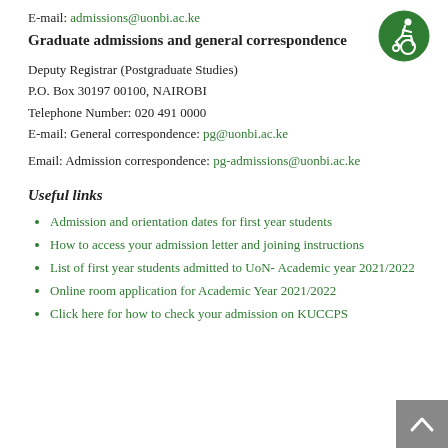E-mail: admissions@uonbi.ac.ke
Graduate admissions and general correspondence
Deputy Registrar (Postgraduate Studies)
P.O. Box 30197 00100, NAIROBI
Telephone Number: 020 491 0000
E-mail: General correspondence: pg@uonbi.ac.ke
Email: Admission correspondence: pg-admissions@uonbi.ac.ke
Useful links
Admission and orientation dates for first year students
How to access your admission letter and joining instructions
List of first year students admitted to UoN- Academic year 2021/2022
Online room application for Academic Year 2021/2022
Click here for how to check your admission on KUCCPS